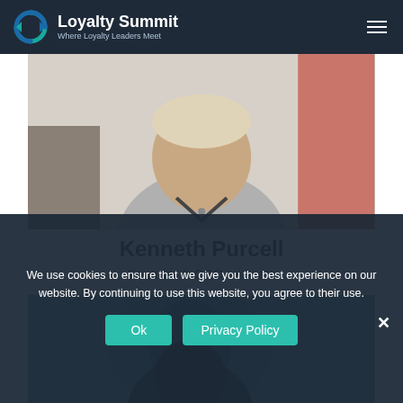Loyalty Summit — Where Loyalty Leaders Meet
[Figure (photo): Photo of Kenneth Purcell, a middle-aged man with light hair wearing a grey button-up shirt, seated in an office/indoor setting]
Kenneth Purcell
Founder & CEO – iSeatz
[Figure (photo): Partial/cropped photo of another person, blurred background with teal/blue tones]
We use cookies to ensure that we give you the best experience on our website. By continuing to use this website, you agree to their use.